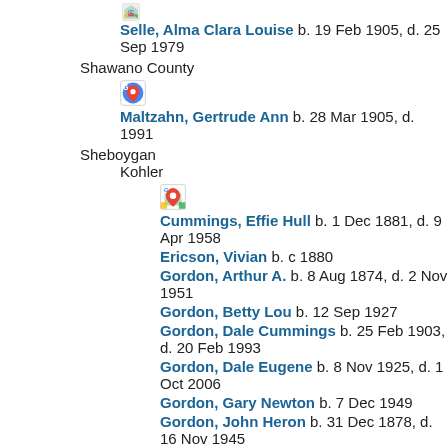Selle, Alma Clara Louise  b. 19 Feb 1905, d. 25 Sep 1979
Shawano County
Maltzahn, Gertrude Ann  b. 28 Mar 1905, d. 1991
Sheboygan
Kohler
Cummings, Effie Hull  b. 1 Dec 1881, d. 9 Apr 1958
Ericson, Vivian  b. c 1880
Gordon, Arthur A.  b. 8 Aug 1874, d. 2 Nov 1951
Gordon, Betty Lou  b. 12 Sep 1927
Gordon, Dale Cummings  b. 25 Feb 1903, d. 20 Feb 1993
Gordon, Dale Eugene  b. 8 Nov 1925, d. 1 Oct 2006
Gordon, Gary Newton  b. 7 Dec 1949
Gordon, John Heron  b. 31 Dec 1878, d. 16 Nov 1945
Gordon, John Stanley  b. 15 Apr 1929, d.